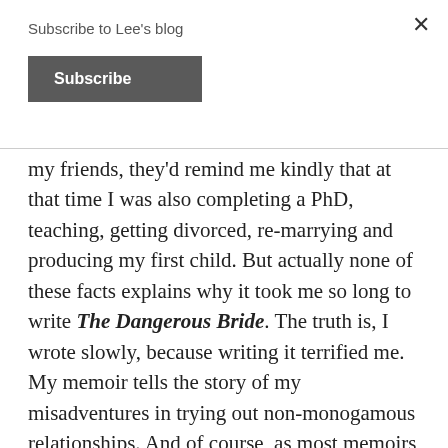Subscribe to Lee's blog
Subscribe
my friends, they'd remind me kindly that at that time I was also completing a PhD, teaching, getting divorced, re-marrying and producing my first child. But actually none of these facts explains why it took me so long to write The Dangerous Bride. The truth is, I wrote slowly, because writing it terrified me. My memoir tells the story of my misadventures in trying out non-monogamous relationships. And of course, as most memoirs are, The Dangerous Bride is not only an exposing book for me, but it is also an expose of other people involved in my story and I